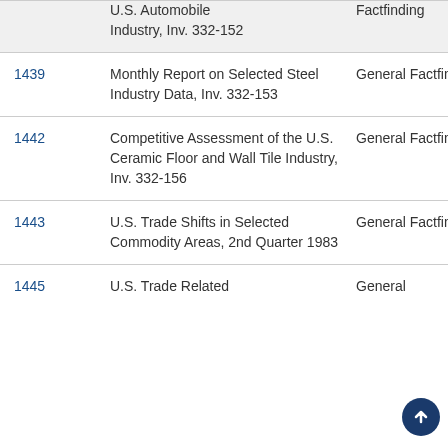|  | Title | Type |
| --- | --- | --- |
|  | U.S. Automobile Industry, Inv. 332-152 | Factfinding |
| 1439 | Monthly Report on Selected Steel Industry Data, Inv. 332-153 | General Factfinding |
| 1442 | Competitive Assessment of the U.S. Ceramic Floor and Wall Tile Industry, Inv. 332-156 | General Factfinding |
| 1443 | U.S. Trade Shifts in Selected Commodity Areas, 2nd Quarter 1983 | General Factfinding |
| 1445 | U.S. Trade Related... | General |